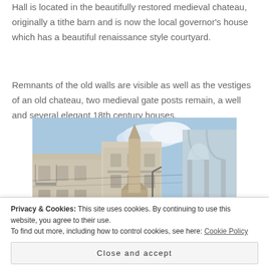Hall is located in the beautifully restored medieval chateau, originally a tithe barn and is now the local governor's house which has a beautiful renaissance style courtyard.
Remnants of the old walls are visible as well as the vestiges of an old chateau, two medieval gate posts remain, a well and several elegant 18th century houses.
[Figure (photo): Street scene of a French town with historic buildings, archway gate, and arcade columns visible]
Privacy & Cookies: This site uses cookies. By continuing to use this website, you agree to their use.
To find out more, including how to control cookies, see here: Cookie Policy
Close and accept